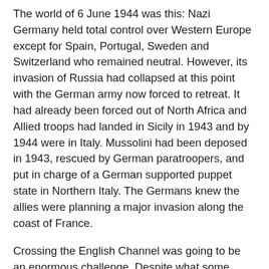The world of 6 June 1944 was this: Nazi Germany held total control over Western Europe except for Spain, Portugal, Sweden and Switzerland who remained neutral. However, its invasion of Russia had collapsed at this point with the German army now forced to retreat. It had already been forced out of North Africa and Allied troops had landed in Sicily in 1943 and by 1944 were in Italy. Mussolini had been deposed in 1943, rescued by German paratroopers, and put in charge of a German supported puppet state in Northern Italy. The Germans knew the allies were planning a major invasion along the coast of France.
Crossing the English Channel was going to be an enormous challenge. Despite what some want to believe, it was easier in concept that actual implementation. While cries of a second front had been going on for years, it required a vast amount of resources to pull off. You not only needed the men, but they all had to be trained, fed, and properly outfitted. Not just the foot